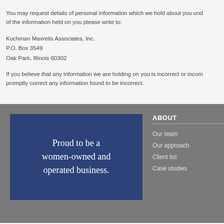You may request details of personal information which we hold about you under the Data Protection Act 1998. A small fee will be payable. If you would like a copy of the information held on you please write to:
Kochman Mavrelis Associates, Inc.
P.O. Box 3549
Oak Park, Illinois 60302
If you believe that any information we are holding on you is incorrect or incomplete, please write to or email us as soon as possible, at the above address. We will promptly correct any information found to be incorrect.
Proud to be a women-owned and operated business.
ABOUT
Our team
Our approach
Client list
Case studies